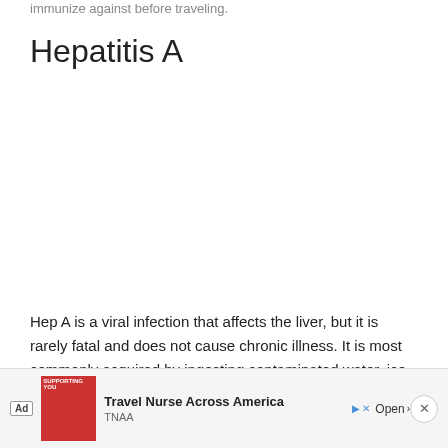immunize against before traveling.
Hepatitis A
Hep A is a viral infection that affects the liver, but it is rarely fatal and does not cause chronic illness. It is most commonly acquired by ingesting contaminated water, ice or raw...